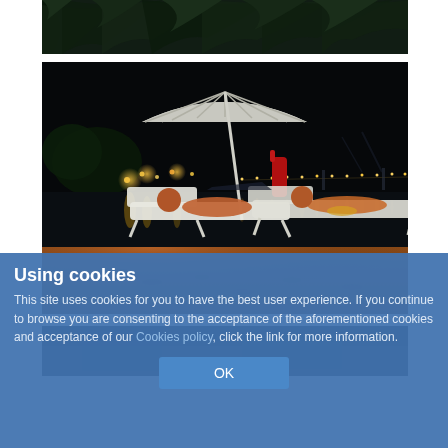[Figure (photo): Partial view of palm leaves against dark sky, cropped photo at top of page]
[Figure (photo): Night scene of a beach with two people reclining on white lounge chairs under a white umbrella, with harbor lights and their reflections on the water in the background, warm sandy beach in foreground]
[Figure (photo): Partially visible dark photo at bottom, mostly obscured by cookie consent overlay]
Using cookies
This site uses cookies for you to have the best user experience. If you continue to browse you are consenting to the acceptance of the aforementioned cookies and acceptance of our Cookies policy, click the link for more information.
OK